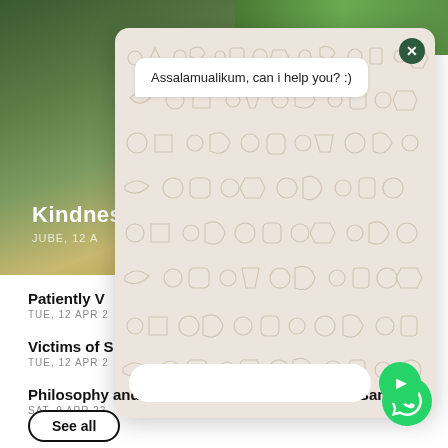[Figure (screenshot): Background forest/nature photo with golden light on ground, text 'Kindnes' and date partially visible]
[Figure (screenshot): WhatsApp chat popup with doodle background, showing message 'Assalamualikum, can i help you? :)', close button (X), and message input row with send button]
Patiently V
TUE, 12 APR 2
Victims of S
TUE, 12 APR 2
Philosophy and Politics of Islamic Law Sharia Banking
SAT, 9 APR 22
See all